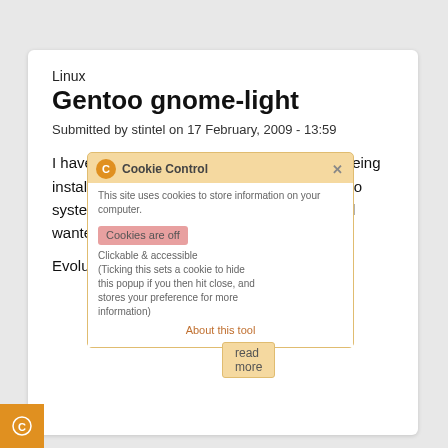Linux
Gentoo gnome-light
Submitted by stintel on 17 February, 2009 - 13:59
I have always had a problem with Evolution being installed when emerging gnome on my Gentoo system. Even with "-evo"-eds" use flags, it still wanted Evolution.
Evolution is a BIG piece of CRAP, and I
[Figure (screenshot): Cookie Control popup overlay showing cookie settings options including a 'Cookies are off' toggle button and informational text about cookie usage]